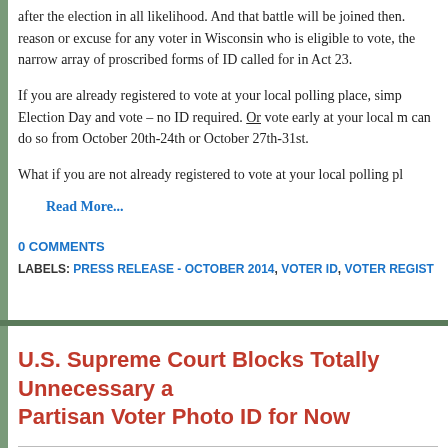after the election in all likelihood. And that battle will be joined then. reason or excuse for any voter in Wisconsin who is eligible to vote, the narrow array of proscribed forms of ID called for in Act 23.
If you are already registered to vote at your local polling place, simp Election Day and vote – no ID required. Or vote early at your local m can do so from October 20th-24th or October 27th-31st.
What if you are not already registered to vote at your local polling pl
Read More...
0 COMMENTS
LABELS: PRESS RELEASE - OCTOBER 2014, VOTER ID, VOTER REGIST
U.S. Supreme Court Blocks Totally Unnecessary a Partisan Voter Photo ID for Now